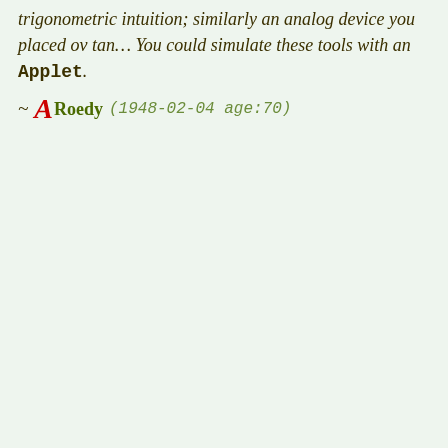trigonometric intuition; similarly an analog device you placed ov tan… You could simulate these tools with an Applet.
~ A Roedy (1948-02-04 age:70)